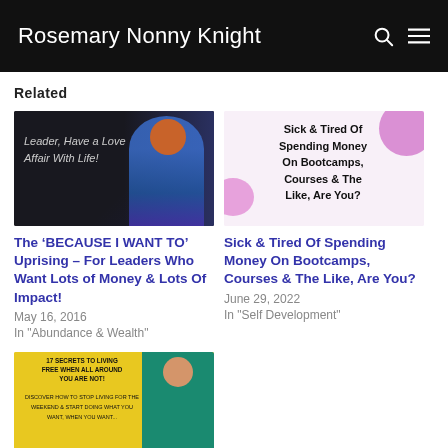Rosemary Nonny Knight
Related
[Figure (photo): Dark background image with person wearing blue floral outfit and red headwrap. Text overlay reads: Leader, Have a Love Affair With Life!]
The ‘BECAUSE I WANT TO’ Uprising – For Leaders Who Want Lots of Money & Lots Of Impact!
May 16, 2016
In "Abundance & Wealth"
[Figure (photo): Pink and purple decorative image with text: Sick & Tired Of Spending Money On Bootcamps, Courses & The Like, Are You?]
Sick & Tired Of Spending Money On Bootcamps, Courses & The Like, Are You?
June 29, 2022
In "Self Development"
[Figure (photo): Yellow background book cover image with person in teal top. Text reads: 17 Secrets To Living Free When All Around You Are Not!]